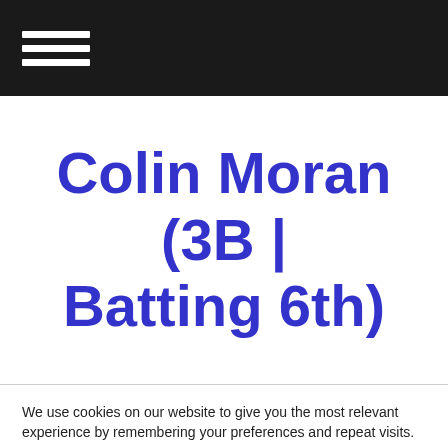Colin Moran (3B | Batting 6th)
We use cookies on our website to give you the most relevant experience by remembering your preferences and repeat visits.